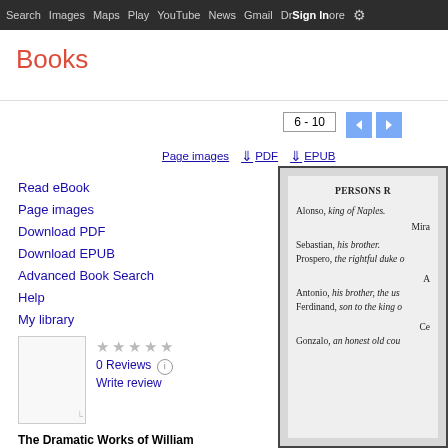Search Images Maps Play YouTube News Gmail Drive More Sign in (gear)
Books
6 - 10
Page images  PDF  EPUB
Read eBook
Page images
Download PDF
Download EPUB
Advanced Book Search
Help
My library
0 Reviews  Write review
[Figure (illustration): Book thumbnail with dog-eared corner]
The Dramatic Works of William Shakespeare: Accurately Printed from
[Figure (illustration): Partial page from The Tempest showing PERSONS REPRESENTED list: Alonso king of Naples, Miranda, Sebastian his brother, Prospero the rightful duke, Antonio his brother the usurper, Ferdinand son to the king, Gonzalo an honest old cou...]